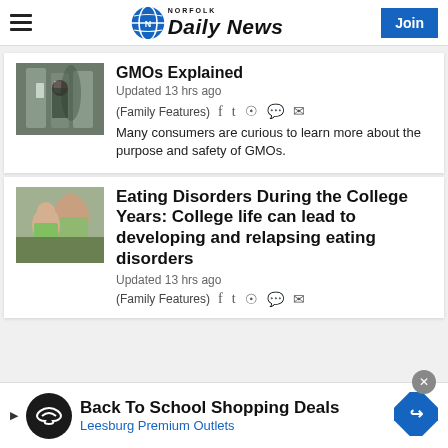Norfolk Daily News
GMOs Explained
Updated 13 hrs ago
(Family Features)
Many consumers are curious to learn more about the purpose and safety of GMOs.
Eating Disorders During the College Years: College life can lead to developing and relapsing eating disorders
Updated 13 hrs ago
(Family Features)
[Figure (infographic): Advertisement banner: Back To School Shopping Deals — Leesburg Premium Outlets]